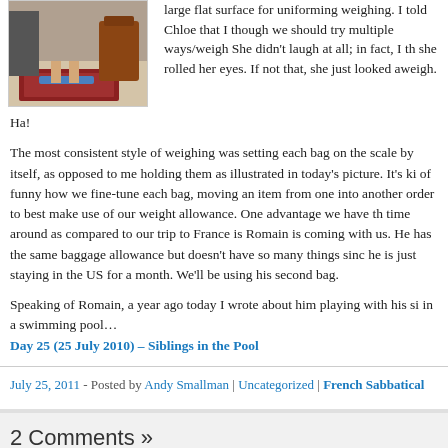[Figure (photo): Person standing on a blue scale on a tiled floor, with a red rug and luggage visible in the background]
large flat surface for uniforming weighing. I told Chloe that I though we should try multiple ways/weigh She didn't laugh at all; in fact, I th she rolled her eyes. If not that, she just looked aweigh.
Ha!
The most consistent style of weighing was setting each bag on the scale by itself, as opposed to me holding them as illustrated in today's picture. It's ki of funny how we fine-tune each bag, moving an item from one into another order to best make use of our weight allowance. One advantage we have th time around as compared to our trip to France is Romain is coming with us. He has the same baggage allowance but doesn't have so many things sinc he is just staying in the US for a month. We'll be using his second bag.
Speaking of Romain, a year ago today I wrote about him playing with his si in a swimming pool…
Day 25 (25 July 2010) – Siblings in the Pool
July 25, 2011 - Posted by Andy Smallman | Uncategorized | French Sabbatical
2 Comments »